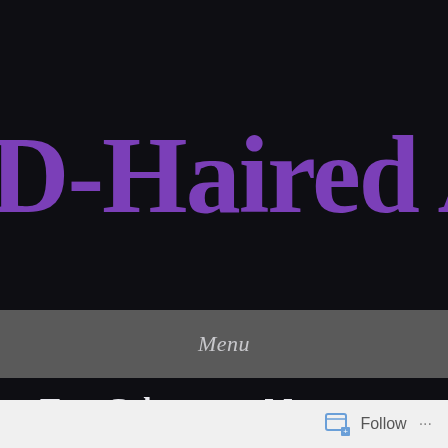D-Haired A
Menu
Tag: Cyborgs on Mars
Follow ...